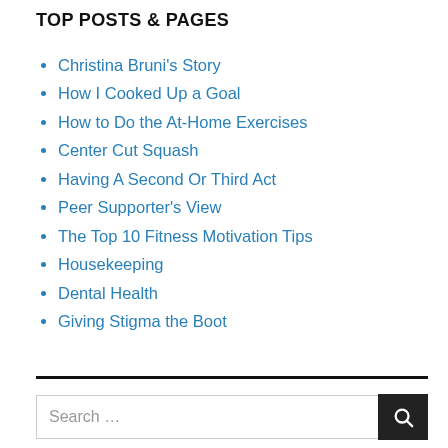TOP POSTS & PAGES
Christina Bruni's Story
How I Cooked Up a Goal
How to Do the At-Home Exercises
Center Cut Squash
Having A Second Or Third Act
Peer Supporter's View
The Top 10 Fitness Motivation Tips
Housekeeping
Dental Health
Giving Stigma the Boot